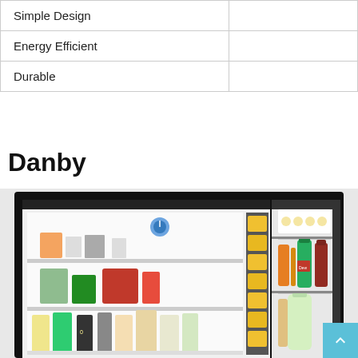| Feature |  |
| --- | --- |
| Simple Design |  |
| Energy Efficient |  |
| Durable |  |
Danby
[Figure (photo): Open Danby refrigerator showing interior shelves stocked with beverages, condiments, and food items, alongside the door bins filled with canned drinks and bottles.]